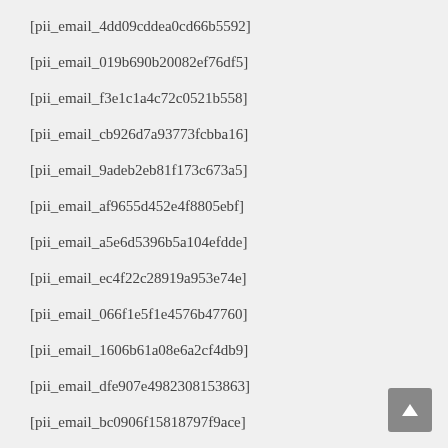[pii_email_4dd09cddea0cd66b5592]
[pii_email_019b690b20082ef76df5]
[pii_email_f3e1c1a4c72c0521b558]
[pii_email_cb926d7a93773fcbba16]
[pii_email_9adeb2eb81f173c673a5]
[pii_email_af9655d452e4f8805ebf]
[pii_email_a5e6d5396b5a104efdde]
[pii_email_ec4f22c28919a953e74e]
[pii_email_066f1e5f1e4576b47760]
[pii_email_1606b61a08e6a2cf4db9]
[pii_email_dfe907e4982308153863]
[pii_email_bc0906f15818797f9ace]
[pii_email_e1aa8f4deb45ecd93b2a]